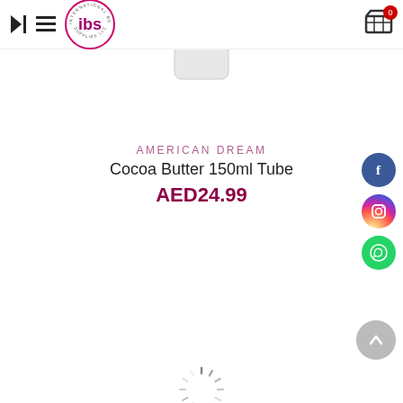[Figure (logo): IBS International Beauty Supplies LLC circular logo with pink/purple text]
[Figure (photo): Partial view of a white cream product jar/tube from above]
AMERICAN DREAM
Cocoa Butter 150ml Tube
AED24.99
[Figure (illustration): Facebook social media circular button (blue)]
[Figure (illustration): Instagram social media circular button (gradient)]
[Figure (illustration): WhatsApp social media circular button (green)]
[Figure (illustration): Back to top circular button (grey with up arrow)]
[Figure (illustration): Loading spinner (partial, bottom center)]